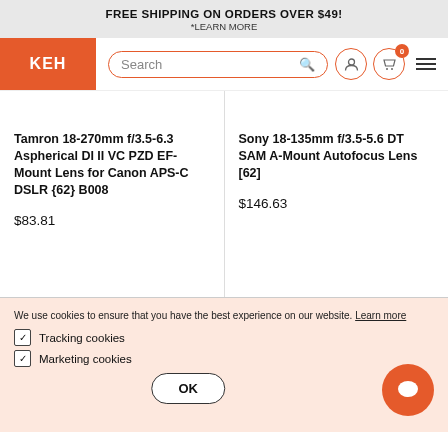FREE SHIPPING ON ORDERS OVER $49!
*LEARN MORE
[Figure (logo): KEH camera store logo and navigation bar with search field, user icon, cart icon with 0 badge, and hamburger menu]
Tamron 18-270mm f/3.5-6.3 Aspherical DI II VC PZD EF-Mount Lens for Canon APS-C DSLR {62} B008
$83.81
Sony 18-135mm f/3.5-5.6 DT SAM A-Mount Autofocus Lens [62]
$146.63
We use cookies to ensure that you have the best experience on our website. Learn more
Tracking cookies
Marketing cookies